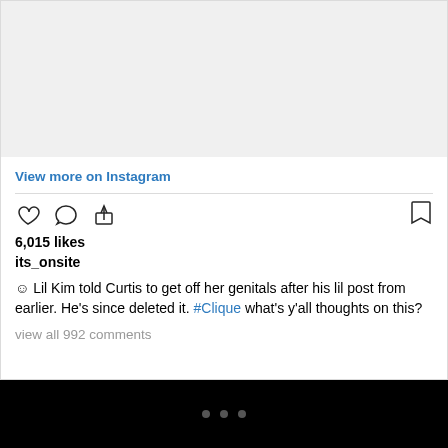[Figure (screenshot): Instagram post image area (blank/white)]
View more on Instagram
[Figure (other): Instagram action icons: heart, comment, share, bookmark]
6,015 likes
its_onsite
☺ Lil Kim told Curtis to get off her genitals after his lil post from earlier. He's since deleted it. #Clique what's y'all thoughts on this?
view all 992 comments